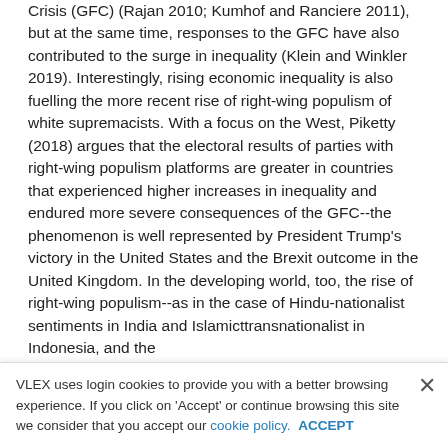Crisis (GFC) (Rajan 2010; Kumhof and Ranciere 2011), but at the same time, responses to the GFC have also contributed to the surge in inequality (Klein and Winkler 2019). Interestingly, rising economic inequality is also fuelling the more recent rise of right-wing populism of white supremacists. With a focus on the West, Piketty (2018) argues that the electoral results of parties with right-wing populism platforms are greater in countries that experienced higher increases in inequality and endured more severe consequences of the GFC--the phenomenon is well represented by President Trump's victory in the United States and the Brexit outcome in the United Kingdom. In the developing world, too, the rise of right-wing populism--as in the case of Hindu-nationalist sentiments in India and Islamicttransnationalist in Indonesia, and the
VLEX uses login cookies to provide you with a better browsing experience. If you click on 'Accept' or continue browsing this site we consider that you accept our cookie policy. ACCEPT